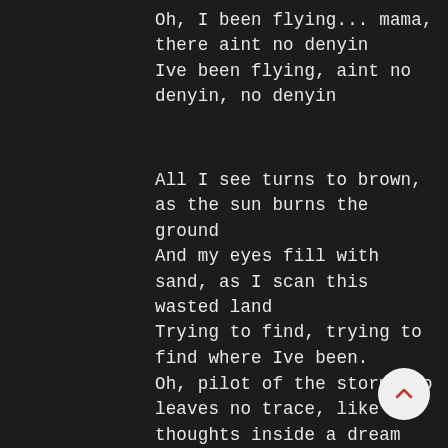Oh, I been flying... mama, there aint no denyin
Ive been flying, aint no denyin, no denyin
All I see turns to brown, as the sun burns the ground
And my eyes fill with sand, as I scan this wasted land
Trying to find, trying to find where Ive been.
Oh, pilot of the storm who leaves no trace, like thoughts inside a dream
Heed the path that led me to that place, yellow desert stream
My shangri-la beneath the summer moon, I will return again
Sure as the dust that floats high in ?, when movin through Kashmir